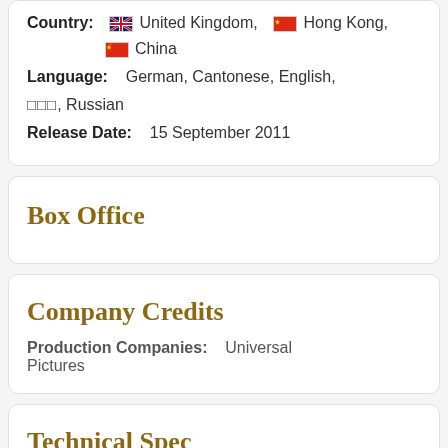Country: United Kingdom, Hong Kong, China
Language: German, Cantonese, English, □□□, Russian
Release Date: 15 September 2011
Box Office
Company Credits
Production Companies: Universal Pictures
Technical Spec